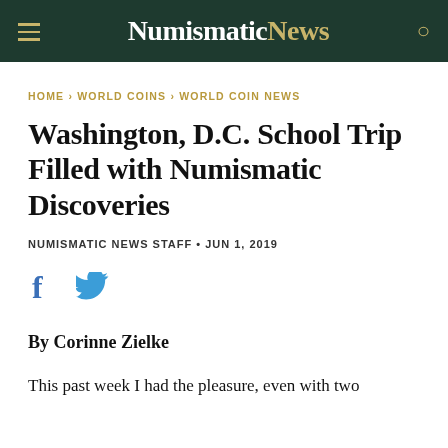Numismatic News
HOME › WORLD COINS › WORLD COIN NEWS
Washington, D.C. School Trip Filled with Numismatic Discoveries
NUMISMATIC NEWS STAFF • JUN 1, 2019
[Figure (other): Social share icons: Facebook (f) and Twitter (bird logo)]
By Corinne Zielke
This past week I had the pleasure, even with two